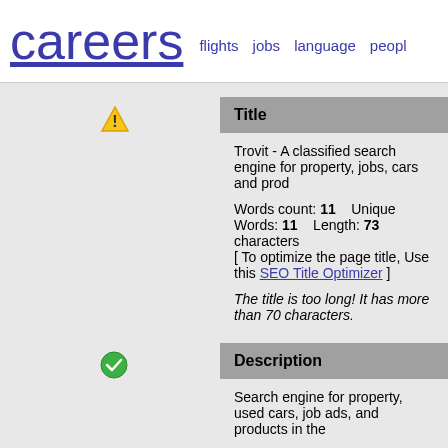careers  flights  jobs  language  peopl
Title
Trovit - A classified search engine for property, jobs, cars and prod
Words count: 11    Unique Words: 11    Length: 73 characters
[ To optimize the page title, Use this SEO Title Optimizer ]
The title is too long! It has more than 70 characters.
Description
Search engine for property, used cars, job ads, and products in the
Words count: 14    Length: 82 characters
[ To optimize the page description, Use this SEO Meta Description
Excellent! Your meta description contains between 70 and 160 cha